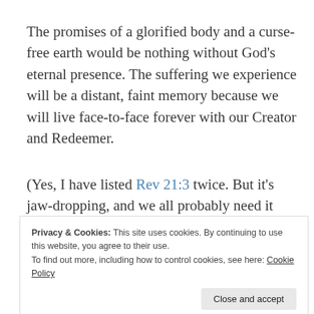The promises of a glorified body and a curse-free earth would be nothing without God's eternal presence. The suffering we experience will be a distant, faint memory because we will live face-to-face forever with our Creator and Redeemer.
(Yes, I have listed Rev 21:3 twice. But it's jaw-dropping, and we all probably need it twice.)
blessing. These promises are given to us
Privacy & Cookies: This site uses cookies. By continuing to use this website, you agree to their use.
To find out more, including how to control cookies, see here: Cookie Policy